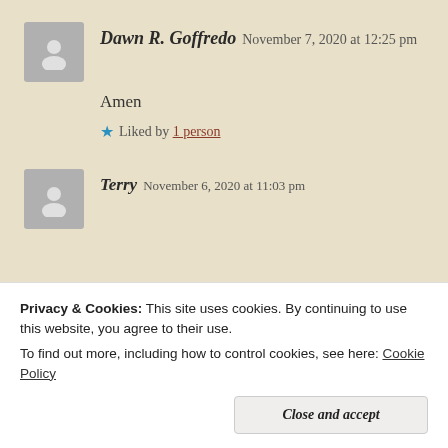Dawn R. Goffredo   November 7, 2020 at 12:25 pm
Amen
★ Liked by 1 person
Terry   November 6, 2020 at 11:03 pm
Privacy & Cookies: This site uses cookies. By continuing to use this website, you agree to their use.
To find out more, including how to control cookies, see here: Cookie Policy
Close and accept